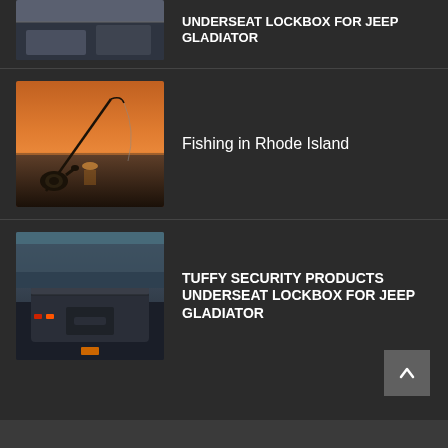[Figure (photo): Partial top thumbnail of Jeep Gladiator interior/underseat area, cropped at top]
UNDERSEAT LOCKBOX FOR JEEP GLADIATOR
[Figure (photo): Fishing rod silhouetted against orange sunset over water]
Fishing in Rhode Island
[Figure (photo): Tuffy security underseat lockbox installed in Jeep Gladiator]
TUFFY SECURITY PRODUCTS UNDERSEAT LOCKBOX FOR JEEP GLADIATOR